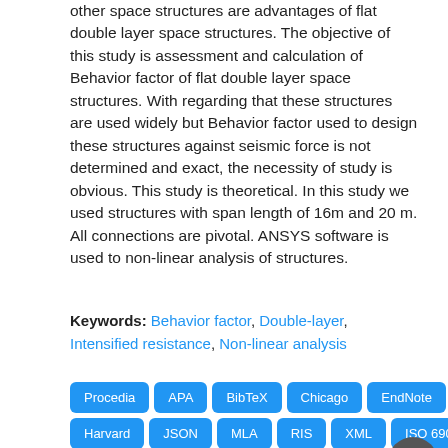other space structures are advantages of flat double layer space structures. The objective of this study is assessment and calculation of Behavior factor of flat double layer space structures. With regarding that these structures are used widely but Behavior factor used to design these structures against seismic force is not determined and exact, the necessity of study is obvious. This study is theoretical. In this study we used structures with span length of 16m and 20 m. All connections are pivotal. ANSYS software is used to non-linear analysis of structures.
Keywords: Behavior factor, Double-layer, Intensified resistance, Non-linear analysis
[Figure (other): Row of blue buttons: Procedia, APA, BibTeX, Chicago, EndNote, Harvard, JSON, MLA, RIS, XML, ISO 690, PDF, Downloads 1882, and a circular arrow-up button]